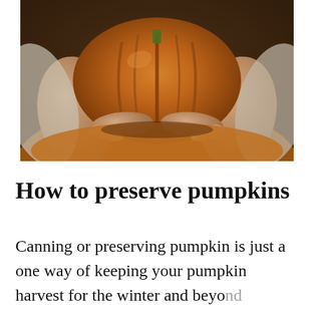[Figure (photo): Close-up photo of two hands holding a large orange pumpkin against a warm, dark background with fabric texture]
How to preserve pumpkins
Canning or preserving pumpkin is just a one way of keeping your pumpkin harvest for the winter and beyond